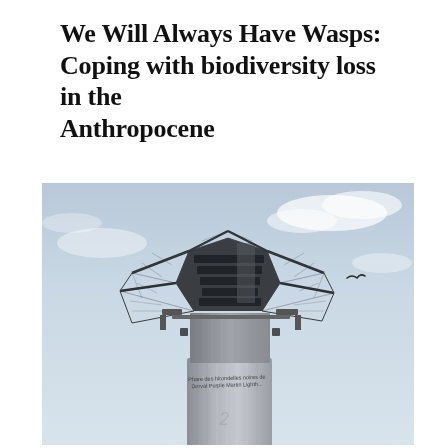We Will Always Have Wasps: Coping with biodiversity loss in the Anthropocene
[Figure (photo): Photograph of the Dorval Purple Martin Lighthouse (Phare des hirondelles noires de Dorval), a cylindrical concrete tower topped with a large hexagonal birdhouse structure enclosed in mesh netting, photographed from below against a partly cloudy blue-grey sky. A bird silhouette is visible in the upper right.]